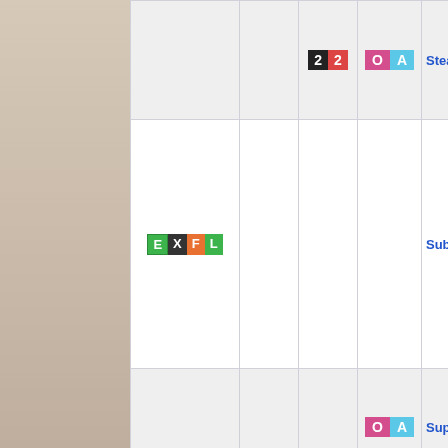|  |  | 22 | OA | Stealth R… |
| EXFL |  |  |  | Substitu… |
|  |  |  | OA | Superpow… |